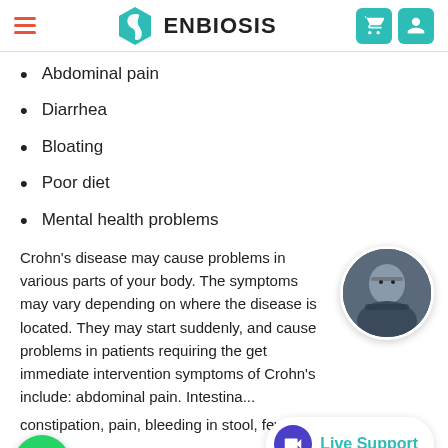ENBIOSIS
Abdominal pain
Diarrhea
Bloating
Poor diet
Mental health problems
Crohn’s disease may cause problems in various parts of your body. The symptoms may vary depending on where the disease is located. They may start suddenly, and cause problems in patients requiring the get immediate intervention symptoms of Crohn’s include: abdominal pain. Intestinal cramps, diarrhea or constipation, pain, bleeding in stool, fever, loss of
[Figure (photo): Circular avatar photo of a man with glasses and arms crossed, wearing dark clothing]
[Figure (logo): Green WhatsApp button icon]
[Figure (infographic): Live Support button with purple video camera icon and teal Live Support text on white rounded pill background]